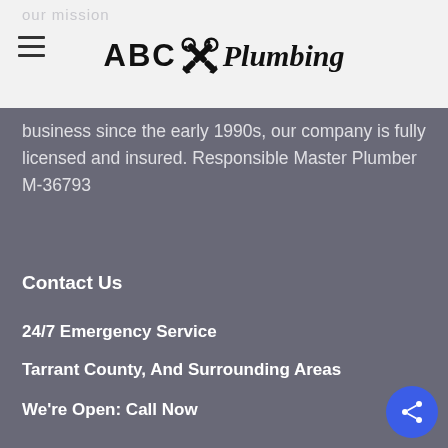ABC Plumbing
business since the early 1990s, our company is fully licensed and insured. Responsible Master Plumber M-36793
Contact Us
24/7 Emergency Service
Tarrant County, And Surrounding Areas
We're Open: Call Now